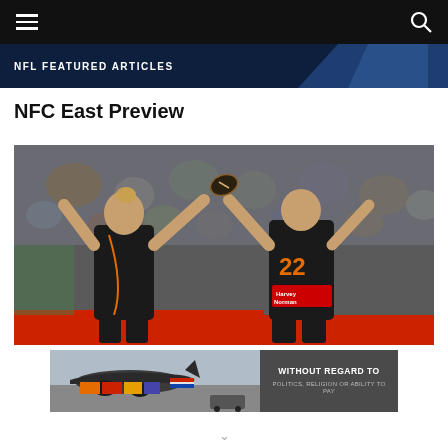NFL FEATURED ARTICLES
NFC East Preview
[Figure (photo): Two AFL/football players in dark jerseys with orange detailing celebrating, one wearing number 22 with 'Harvey Norman' sponsor, reaching up toward a football together, crowd in background]
[Figure (photo): Advertisement banner showing cargo aircraft on the ground with text 'WITHOUT REGARD TO POLITICS, RELIGION OR ABILITY TO PAY']